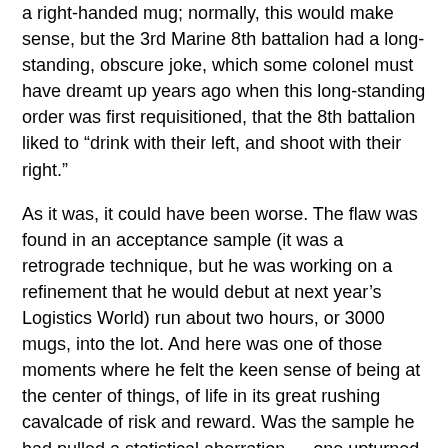a right-handed mug; normally, this would make sense, but the 3rd Marine 8th battalion had a long-standing, obscure joke, which some colonel must have dreamt up years ago when this long-standing order was first requisitioned, that the 8th battalion liked to “drink with their left, and shoot with their right.”
As it was, it could have been worse. The flaw was found in an acceptance sample (it was a retrograde technique, but he was working on a refinement that he would debut at next year’s Logistics World) run about two hours, or 3000 mugs, into the lot. And here was one of those moments where he felt the keen sense of being at the center of things, of life in its great rushing cavalcade of risk and reward. Was the sample he had pulled a statistical aberration — one upturned mug among tens of thousands of mugs of proper disposition — or was it endemic of a system failure, a thorough corruption? Was he about to pull the plug on an otherwise stable process?